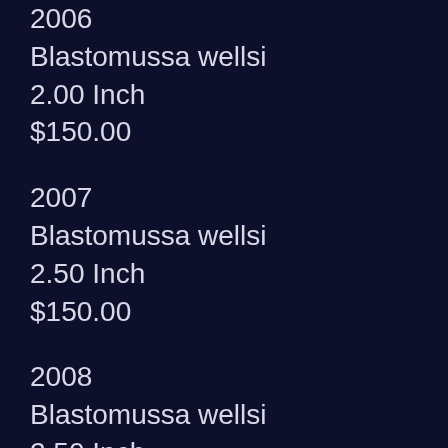2006
Blastomussa wellsi
2.00 Inch
$150.00
2007
Blastomussa wellsi
2.50 Inch
$150.00
2008
Blastomussa wellsi
2.50 Inch